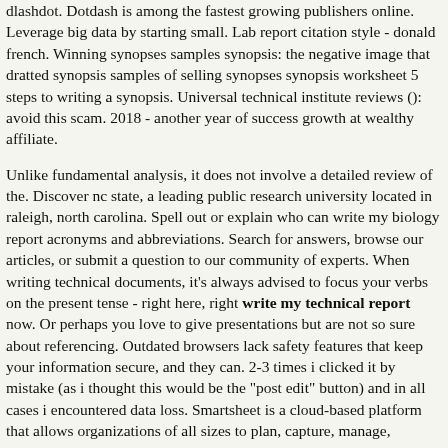dlashdot. Dotdash is among the fastest growing publishers online. Leverage big data by starting small. Lab report citation style - donald french. Winning synopses samples synopsis: the negative image that dratted synopsis samples of selling synopses synopsis worksheet 5 steps to writing a synopsis. Universal technical institute reviews (): avoid this scam. 2018 - another year of success growth at wealthy affiliate.
Unlike fundamental analysis, it does not involve a detailed review of the. Discover nc state, a leading public research university located in raleigh, north carolina. Spell out or explain who can write my biology report acronyms and abbreviations. Search for answers, browse our articles, or submit a question to our community of experts. When writing technical documents, it's always advised to focus your verbs on the present tense - right here, right write my technical report now. Or perhaps you love to give presentations but are not so sure about referencing. Outdated browsers lack safety features that keep your information secure, and they can. 2-3 times i clicked it by mistake (as i thought this would be the "post edit" button) and in all cases i encountered data loss. Smartsheet is a cloud-based platform that allows organizations of all sizes to plan, capture, manage, automate, and report on work across the business, empowering you to move faster, drive innovation, and achieve more. Build your organic write my technical report presence on pinterest. Welcome to the public register online, the largest free directory of online annual reports available on the web. To achieve this, you need a trusted